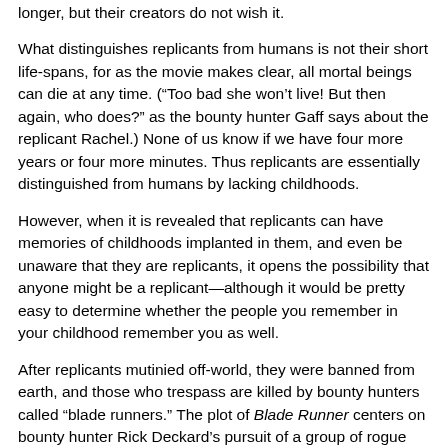longer, but their creators do not wish it.
What distinguishes replicants from humans is not their short life-spans, for as the movie makes clear, all mortal beings can die at any time. (“Too bad she won’t live! But then again, who does?” as the bounty hunter Gaff says about the replicant Rachel.) None of us know if we have four more years or four more minutes. Thus replicants are essentially distinguished from humans by lacking childhoods.
However, when it is revealed that replicants can have memories of childhoods implanted in them, and even be unaware that they are replicants, it opens the possibility that anyone might be a replicant—although it would be pretty easy to determine whether the people you remember in your childhood remember you as well.
After replicants mutinied off-world, they were banned from earth, and those who trespass are killed by bounty hunters called “blade runners.” The plot of Blade Runner centers on bounty hunter Rick Deckard’s pursuit of a group of rogue replicants that hijacked a ship,